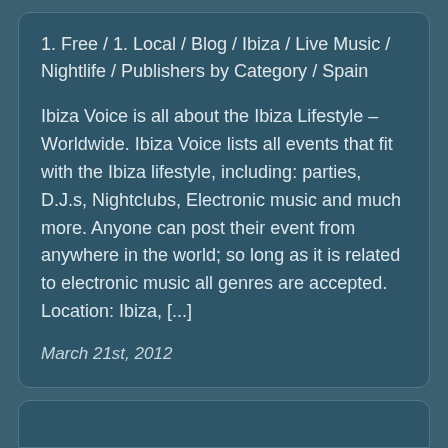1. Free / 1. Local / Blog / Ibiza / Live Music / Nightlife / Publishers by Category / Spain
Ibiza Voice is all about the Ibiza Lifestyle – Worldwide. Ibiza Voice lists all events that fit with the Ibiza lifestyle, including: parties, D.J.s, Nightclubs, Electronic music and much more. Anyone can post their event from anywhere in the world; so long as it is related to electronic music all genres are accepted. Location: Ibiza, [...]
March 21st, 2012